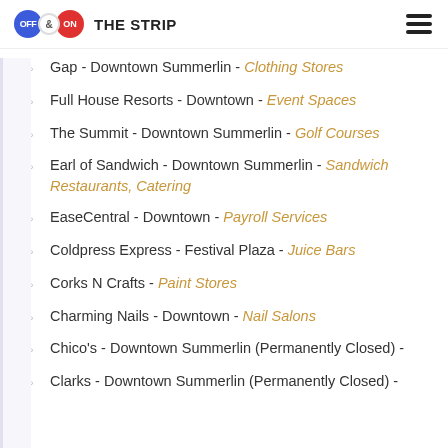OFF & ON THE STRIP
Gap - Downtown Summerlin - Clothing Stores
Full House Resorts - Downtown - Event Spaces
The Summit - Downtown Summerlin - Golf Courses
Earl of Sandwich - Downtown Summerlin - Sandwich Restaurants, Catering
EaseCentral - Downtown - Payroll Services
Coldpress Express - Festival Plaza - Juice Bars
Corks N Crafts - Paint Stores
Charming Nails - Downtown - Nail Salons
Chico's - Downtown Summerlin (Permanently Closed) -
Clarks - Downtown Summerlin (Permanently Closed) -